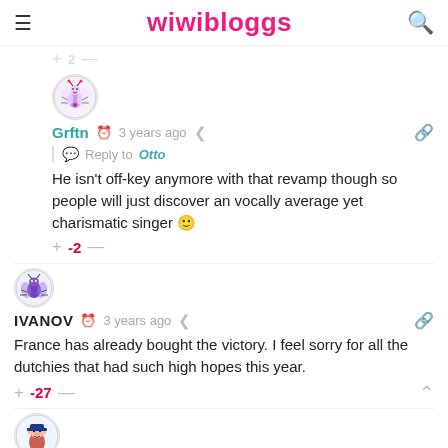wiwibloggs
+ 2 —
Grftn  3 years ago
Reply to Otto
He isn't off-key anymore with that revamp though so people will just discover an vocally average yet charismatic singer 🙂
+ -2 —
IVANOV  3 years ago
France has already bought the victory. I feel sorry for all the dutchies that had such high hopes this year.
+ -27 —